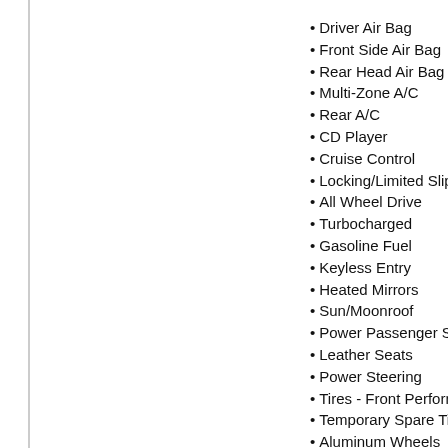Driver Air Bag
Front Side Air Bag
Rear Head Air Bag
Multi-Zone A/C
Rear A/C
CD Player
Cruise Control
Locking/Limited Slip D
All Wheel Drive
Turbocharged
Gasoline Fuel
Keyless Entry
Heated Mirrors
Sun/Moonroof
Power Passenger Se
Leather Seats
Power Steering
Tires - Front Performa
Temporary Spare Tire
Aluminum Wheels
Intermittent Wipers